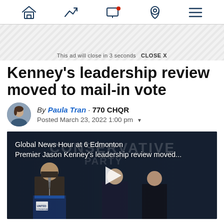Nav icons: home, trending, monitor with notification, location pin, menu
This ad will close in 3 seconds  CLOSE X
Kenney's leadership review moved to mail-in vote
By Paula Tran · 770 CHQR
Posted March 23, 2022 1:00 pm
[Figure (screenshot): Video thumbnail showing men in suits at a podium with United Conservative Party branding. Overlay text reads: Global News Hour at 6 Edmonton Premier Jason Kenney's leadership review moved... A play button is visible in the center.]